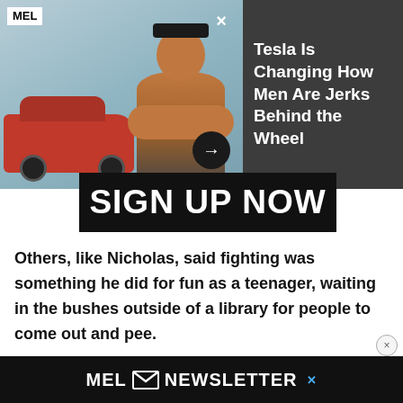[Figure (screenshot): MEL magazine advertisement showing a shirtless muscular man with crossed arms wearing a black cap, next to a red Tesla car on a blue-green background, with an arrow button. Right side dark grey panel with white text headline.]
Tesla Is Changing How Men Are Jerks Behind the Wheel
SIGN UP NOW
Others, like Nicholas, said fighting was something he did for fun as a teenager, waiting in the bushes outside of a library for people to come out and pee.
Nicholas learned how to be a skinhead from older pee... to bea... nts.
[Figure (screenshot): MEL Newsletter banner advertisement at the bottom of the page, black background with white text 'MEL [envelope icon] NEWSLETTER' and a blue X close button.]